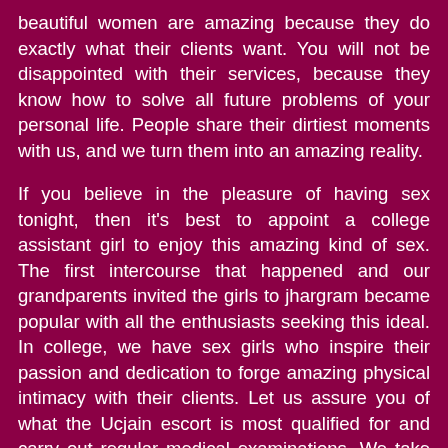beautiful women are amazing because they do exactly what their clients want. You will not be disappointed with their services, because they know how to solve all future problems of your personal life. People share their dirtiest moments with us, and we turn them into an amazing reality.

If you believe in the pleasure of having sex tonight, then it's best to appoint a college assistant girl to enjoy this amazing kind of sex. The first intercourse that happened and our grandparents invited the girls to jhargram became popular with all the enthusiasts seeking this ideal. In college, we have sex girls who inspire their passion and dedication to forge amazing physical intimacy with their clients. Let us assure you of what the Ucjain escort is most qualified for and carry out regular medical examinations. We take care of your health and physical health with the utmost concern for your privacy. You would like to know more about our privacy concerns by using our